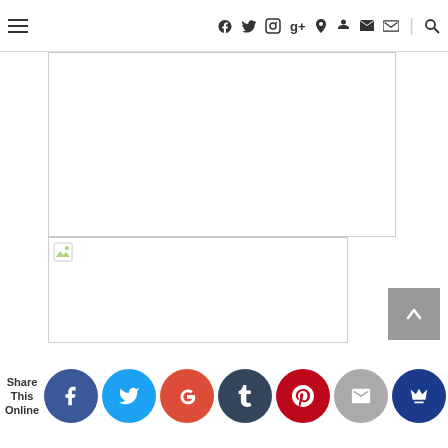Navigation bar with hamburger menu and social/search icons
[Figure (photo): Large image placeholder rectangle with gray border, white interior (top image)]
[Figure (photo): Large image placeholder rectangle with broken image icon in top-left corner (bottom image)]
[Figure (other): Gray back-to-top button with upward chevron arrow]
Share This Online
[Figure (infographic): Row of circular social sharing buttons: Facebook (blue), Twitter (light blue), Google+ (red-orange), Tumblr (dark navy), Pinterest (red), Email (gray), Crown/bookmark (dark blue)]